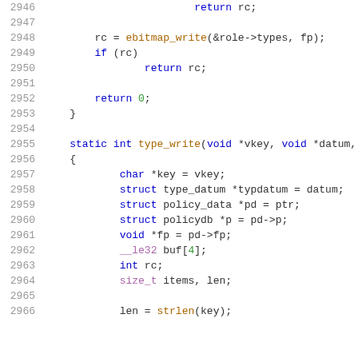2946    return rc;
2947
2948    rc = ebitmap_write(&role->types, fp);
2949    if (rc)
2950        return rc;
2951
2952    return 0;
2953 }
2954
2955 static int type_write(void *vkey, void *datum,
2956 {
2957    char *key = vkey;
2958    struct type_datum *typdatum = datum;
2959    struct policy_data *pd = ptr;
2960    struct policydb *p = pd->p;
2961    void *fp = pd->fp;
2962    __le32 buf[4];
2963    int rc;
2964    size_t items, len;
2965
2966    len = strlen(key);